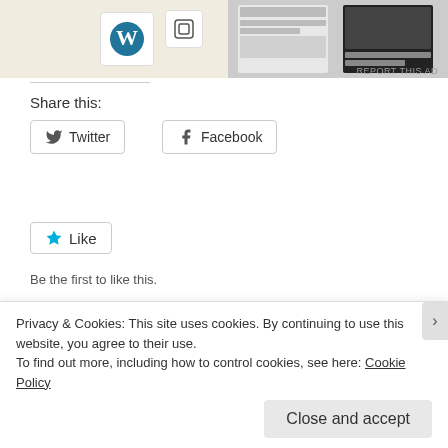[Figure (screenshot): Ad image showing WordPress logo, square icon, and magazine cover thumbnails with 'REPORT THIS AD' text]
Share this:
[Figure (screenshot): Twitter share button with bird icon]
[Figure (screenshot): Facebook share button with f icon]
[Figure (screenshot): Like button with blue star icon]
Be the first to like this.
Related
Great Nephew Finn's Lighted Door Wreath
May 27, 2022
FXOEE Precision Craft Glue Comparison
August 20, 2022
Privacy & Cookies: This site uses cookies. By continuing to use this website, you agree to their use.
To find out more, including how to control cookies, see here: Cookie Policy
Close and accept